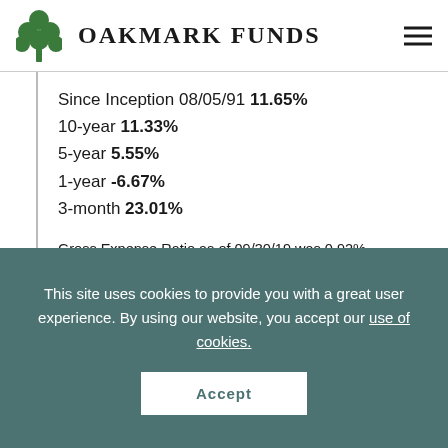Oakmark Funds
Since Inception 08/05/91 11.65%
10-year 11.33%
5-year 5.55%
1-year -6.67%
3-month 23.01%
Gross Expense Ratio as of 09/30/19 was 0.92%
Net Expense Ratio as of 09/30/19 was 0.88%
Past performance is no guarantee of future results. The performance data quoted represents
This site uses cookies to provide you with a great user experience. By using our website, you accept our use of cookies.